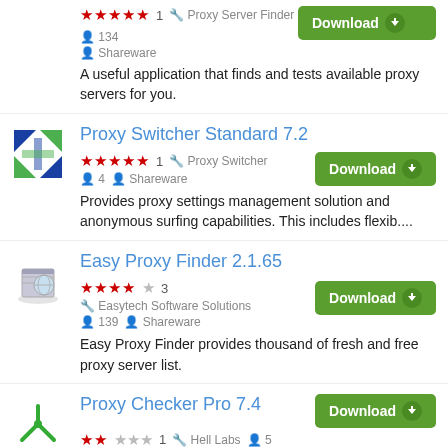Proxy Server Finder — 134 — Shareware — A useful application that finds and tests available proxy servers for you.
Proxy Switcher Standard 7.2 — Proxy Switcher — 4 — Shareware — Provides proxy settings management solution and anonymous surfing capabilities. This includes flexib....
Easy Proxy Finder 2.1.65 — Easytech Software Solutions — 139 — Shareware — Easy Proxy Finder provides thousand of fresh and free proxy server list.
Proxy Checker Pro 7.4 — (partial)